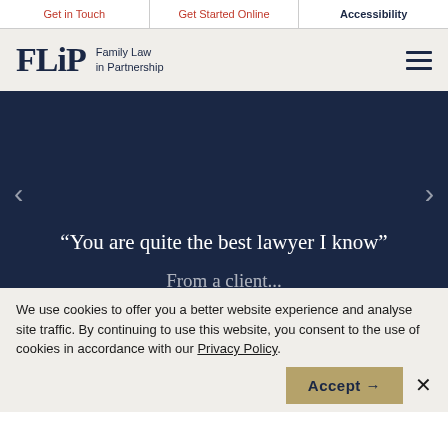Get in Touch | Get Started Online | Accessibility
[Figure (logo): FLiP Family Law in Partnership logo with hamburger menu icon]
“You are quite the best lawyer I know”
We use cookies to offer you a better website experience and analyse site traffic. By continuing to use this website, you consent to the use of cookies in accordance with our Privacy Policy.
Accept →